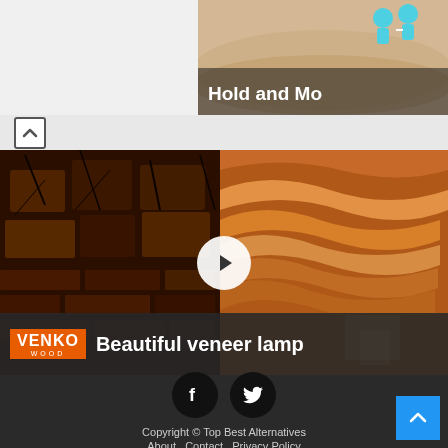[Figure (screenshot): Top right ad banner showing 'Hold and Mo...' with cartoon figures on a sandy/beige background]
[Figure (screenshot): Video thumbnail for Venko Wood 'Beautiful veneer lamp' showing wood texture and lamp on left side, glowing wavy lamp on right side, with a play button overlay and Venko Wood logo/title bar at bottom]
[Figure (illustration): Footer with Facebook and Twitter social icons (black circles), copyright text, navigation links, and a blue back-to-top button]
Copyright © Top Best Alternatives
About   Contact   Privacy Policy